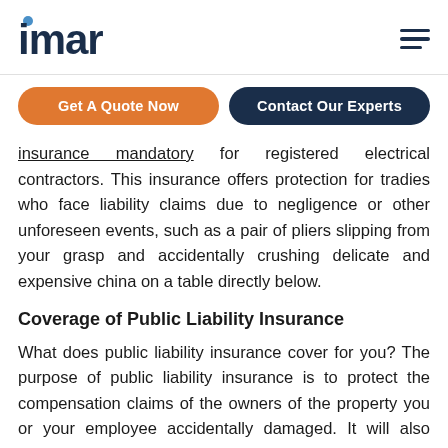imar
Get A Quote Now
Contact Our Experts
insurance mandatory for registered electrical contractors. This insurance offers protection for tradies who face liability claims due to negligence or other unforeseen events, such as a pair of pliers slipping from your grasp and accidentally crushing delicate and expensive china on a table directly below.
Coverage of Public Liability Insurance
What does public liability insurance cover for you? The purpose of public liability insurance is to protect the compensation claims of the owners of the property you or your employee accidentally damaged. It will also cover the medical costs of